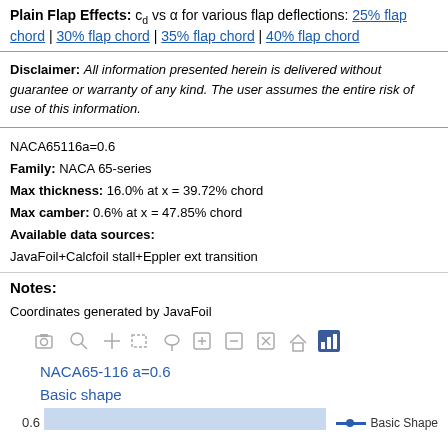Plain Flap Effects: c_d vs α for various flap deflections: 25% flap chord | 30% flap chord | 35% flap chord | 40% flap chord
Disclaimer: All information presented herein is delivered without guarantee or warranty of any kind. The user assumes the entire risk of use of this information.
NACA65116a=0.6
Family: NACA 65-series
Max thickness: 16.0% at x = 39.72% chord
Max camber: 0.6% at x = 47.85% chord
Available data sources:
JavaFoil+Calcfoil stall+Eppler ext transition
Notes:
Coordinates generated by JavaFoil
[Figure (other): Chart toolbar with icons for camera, zoom, pan, select, lasso, zoom-in, zoom-out, reset axes, home, and bar chart. Below shows start of airfoil plot: NACA65-116 a=0.6, Basic shape, with y-axis value 0.6 and a horizontal bar chart area with a blue line legend labeled Basic Shape.]